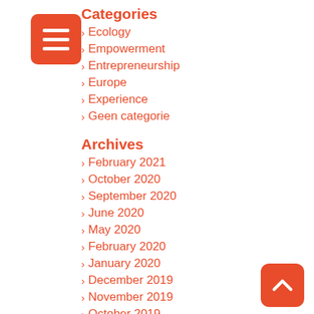[Figure (illustration): Orange rounded square icon with three horizontal white lines (hamburger menu icon)]
Categories
Ecology
Empowerment
Entrepreneurship
Europe
Experience
Geen categorie
Archives
February 2021
October 2020
September 2020
June 2020
May 2020
February 2020
January 2020
December 2019
November 2019
October 2019
September 2019
[Figure (illustration): Orange rounded square with white upward chevron arrow (back to top button)]